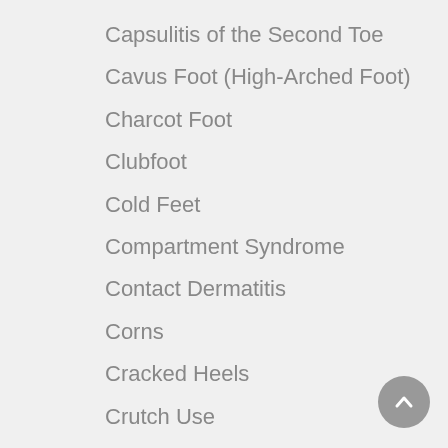Capsulitis of the Second Toe
Cavus Foot (High-Arched Foot)
Charcot Foot
Clubfoot
Cold Feet
Compartment Syndrome
Contact Dermatitis
Corns
Cracked Heels
Crutch Use
Custom Orthotic Devices